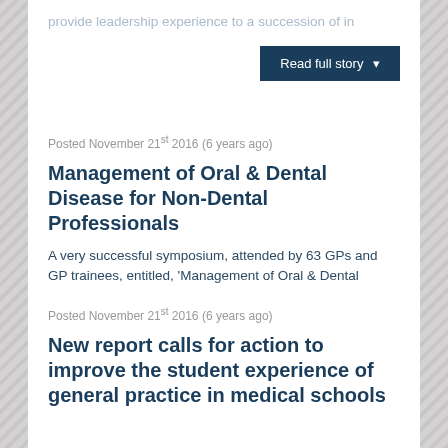provide leadership experience to a succession of in
Read full story ▾
Posted November 21st 2016 (6 years ago)
Management of Oral & Dental Disease for Non-Dental Professionals
A very successful symposium, attended by 63 GPs and GP trainees, entitled, 'Management of Oral & Dental Disease for Non-Dental Professionals' was held on Wednesday, 12th October at Future Inns Hotel in Bristol.  This was a joint initiative between the GP and Dental Schools and included
Read full story ▾
Posted November 21st 2016 (6 years ago)
New report calls for action to improve the student experience of general practice in medical schools